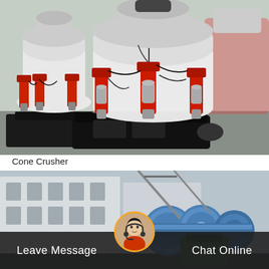[Figure (photo): Industrial cone crusher machines in white and red with hydraulic cylinders and black base frames, arranged in a manufacturing facility]
Cone Crusher
[Figure (photo): Industrial ball mill or grinding equipment with large blue cylindrical drums in a factory or yard setting, with a customer service representative avatar overlay and chat bar at the bottom]
Leave Message
Chat Online